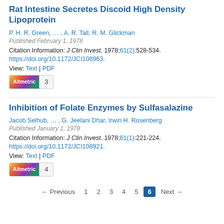Rat Intestine Secretes Discoid High Density Lipoprotein
P. H. R. Green, … , A. R. Tall, R. M. Glickman
Published February 1, 1978
Citation Information: J Clin Invest. 1978;61(2):528-534. https://doi.org/10.1172/JCI108963.
View: Text | PDF
[Figure (other): Altmetric badge showing score of 3]
Inhibition of Folate Enzymes by Sulfasalazine
Jacob Selhub, … , G. Jeelani Dhar, Irwin H. Rosenberg
Published January 1, 1978
Citation Information: J Clin Invest. 1978;61(1):221-224. https://doi.org/10.1172/JCI108921.
View: Text | PDF
[Figure (other): Altmetric badge showing score of 4]
← Previous  1  2  3  4  5  6  Next →